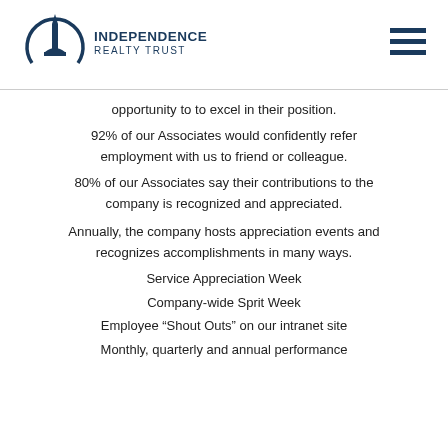Independence Realty Trust
opportunity to to excel in their position.
92% of our Associates would confidently refer employment with us to friend or colleague.
80% of our Associates say their contributions to the company is recognized and appreciated.
Annually, the company hosts appreciation events and recognizes accomplishments in many ways.
Service Appreciation Week
Company-wide Sprit Week
Employee “Shout Outs” on our intranet site
Monthly, quarterly and annual performance